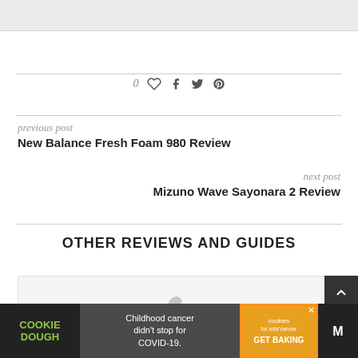[Figure (other): Top gray bar / image placeholder]
0 ♡  f  🐦  𝗽
previous post
New Balance Fresh Foam 980 Review
next post
Mizuno Wave Sayonara 2 Review
OTHER REVIEWS AND GUIDES
[Figure (photo): Running shoe thumbnail card]
[Figure (other): Advertisement banner: COOKIE DOUGH — Childhood cancer didn't stop for COVID-19. — cookies for kids' cancer GET BAKING]